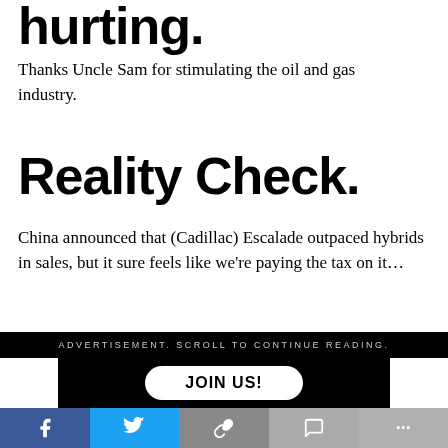hurting.
Thanks Uncle Sam for stimulating the oil and gas industry.
Reality Check.
China announced that (Cadillac) Escalade outpaced hybrids in sales, but it sure feels like we’re paying the tax on it…
[Figure (screenshot): Advertisement bar reading ADVERTISEMENT. SCROLL TO CONTINUE READING. with a black background JOIN US! button below]
[Figure (infographic): Social media share bar with Facebook, Twitter, link, comment, and more buttons]